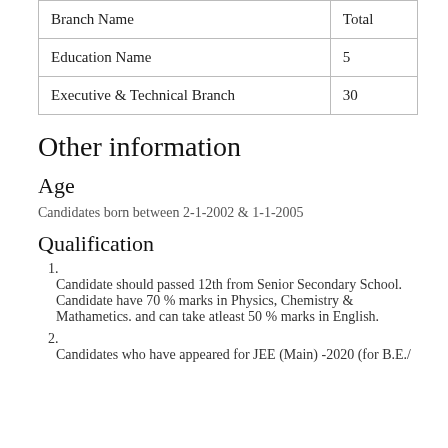| Branch Name | Total |
| --- | --- |
| Education Name | 5 |
| Executive & Technical Branch | 30 |
Other information
Age
Candidates born between 2-1-2002 & 1-1-2005
Qualification
Candidate should passed 12th from Senior Secondary School. Candidate have 70 % marks in Physics, Chemistry & Mathametics. and can take atleast 50 % marks in English.
Candidates who have appeared for JEE (Main) -2020 (for B.E./